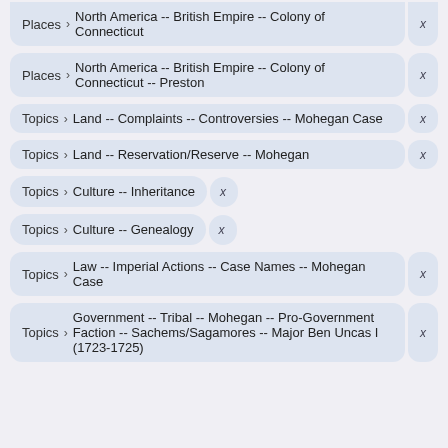Places > North America -- British Empire -- Colony of Connecticut
Places > North America -- British Empire -- Colony of Connecticut -- Preston
Topics > Land -- Complaints -- Controversies -- Mohegan Case
Topics > Land -- Reservation/Reserve -- Mohegan
Topics > Culture -- Inheritance
Topics > Culture -- Genealogy
Topics > Law -- Imperial Actions -- Case Names -- Mohegan Case
Topics > Government -- Tribal -- Mohegan -- Pro-Government Faction -- Sachems/Sagamores -- Major Ben Uncas I (1723-1725)